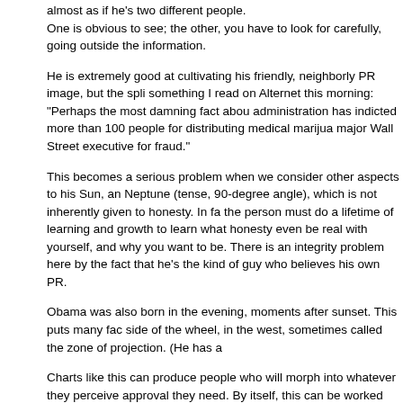almost as if he's two different people.
One is obvious to see; the other, you have to look for carefully, going outside the information.
He is extremely good at cultivating his friendly, neighborly PR image, but the split something I read on Alternet this morning: "Perhaps the most damning fact about administration has indicted more than 100 people for distributing medical marijua major Wall Street executive for fraud."
This becomes a serious problem when we consider other aspects to his Sun, and Neptune (tense, 90-degree angle), which is not inherently given to honesty. In fa the person must do a lifetime of learning and growth to learn what honesty even be real with yourself, and why you want to be. There is an integrity problem here by the fact that he's the kind of guy who believes his own PR.
Obama was also born in the evening, moments after sunset. This puts many fac side of the wheel, in the west, sometimes called the zone of projection. (He has a
Charts like this can produce people who will morph into whatever they perceive approval they need. By itself, this can be worked with, but with so many other fa problems, the bottom line is we have no idea who this person really is. This sho conservatives who cling to their 'birtherism', trying to claim that Obama is not Am States. They are seeing shadows and making up stories.
Do we ever know who a pub